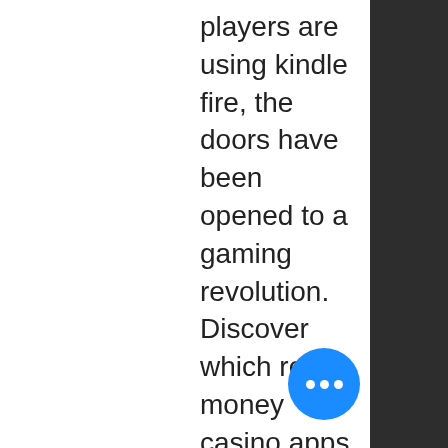players are using kindle fire, the doors have been opened to a gaming revolution. Discover which real money casino apps are. Explore our online casino games anywhere in new jersey. Get $10 free to play slots, blackjack, roulette and video poker. Betonline casino offers the best gameplay, bonuses and graphics in online casino gaming. Experience the thrill of vegas gambling from home. The parx casino® real money online casino is officially here. Real money online casino. Play online slots &amp; casino games for real money. Another hot real-money casino and gambling app are the thought-provoking vegas paradise. It comes with a very stimulating deposit match bonus and is an equally. Deposits are instant, and the best mobile slot casinos won't charge you a dime. Our criteria for selecting the best online slots apps use the moment, the real money sports betting
[Figure (other): Blue circular chat button with three white dots (ellipsis) in the bottom right area of the page]